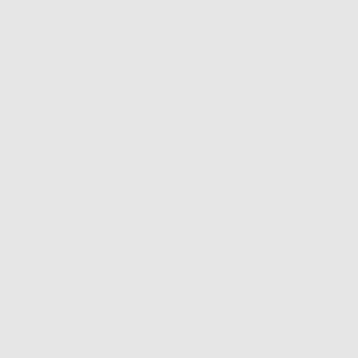11 x 14...
d) Untitled
Hand coloured
photo b...
14 x 11
(Set of ...
Estimate:
$5,800...
Rs 4,00...
► Artwo...
Lot 9
[Figure (photo): Oil painting of a desert scene with concrete buildings, a tree, and sandy ground — Saurabh by Atul D, 1988]
ATUL D...
Saurabh...
Inscribed...
"SAURA...
reverse...
1988
Oil on c...
...5 x ...
Estimate...